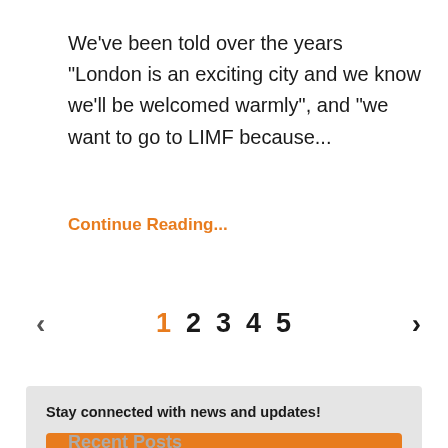We've been told over the years "London is an exciting city and we know we'll be welcomed warmly", and "we want to go to LIMF because...
Continue Reading...
‹  1  2  3  4  5  ›
Stay connected with news and updates!
Subscribe
Recent Posts